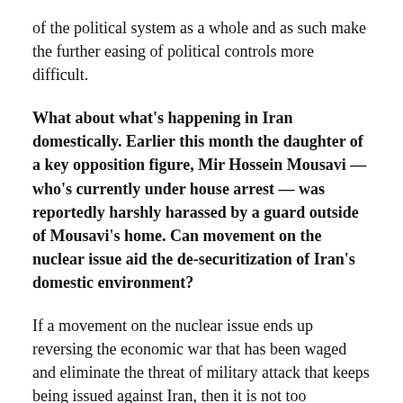of the political system as a whole and as such make the further easing of political controls more difficult.
What about what's happening in Iran domestically. Earlier this month the daughter of a key opposition figure, Mir Hossein Mousavi — who's currently under house arrest — was reportedly harshly harassed by a guard outside of Mousavi's home. Can movement on the nuclear issue aid the de-securitization of Iran's domestic environment?
If a movement on the nuclear issue ends up reversing the economic war that has been waged and eliminate the threat of military attack that keeps being issued against Iran, then it is not too outlandish to think of the further opening of the